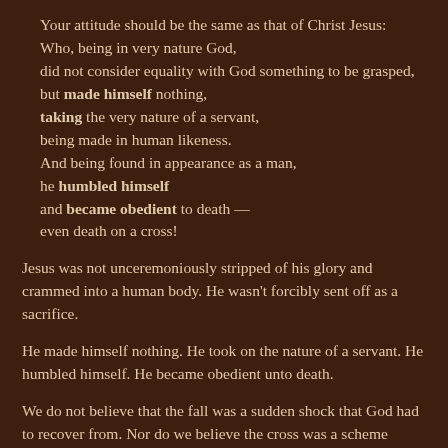Your attitude should be the same as that of Christ Jesus:
Who, being in very nature God,
did not consider equality with God something to be grasped,
but made himself nothing,
taking the very nature of a servant,
being made in human likeness.
And being found in appearance as a man,
he humbled himself
and became obedient to death —
even death on a cross!
Jesus was not unceremoniously stripped of his glory and crammed into a human body. He wasn't forcibly sent off as a sacrifice.
He made himself nothing. He took on the nature of a servant. He humbled himself. He became obedient unto death.
We do not believe that the fall was a sudden shock that God had to recover from. Nor do we believe the cross was a scheme forced on